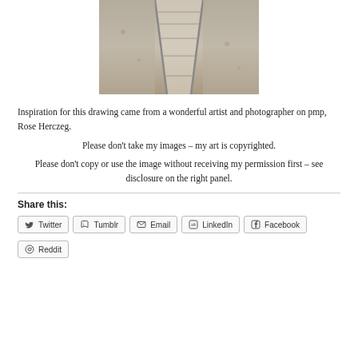[Figure (photo): Black and white photograph of a wooden boardwalk or path leading into the distance, with railings on each side and sandy/grassy terrain]
Inspiration for this drawing came from a wonderful artist and photographer on pmp, Rose Herczeg.
Please don't take my images – my art is copyrighted.
Please don't copy or use the image without receiving my permission first – see disclosure on the right panel.
Share this:
Twitter
Tumblr
Email
LinkedIn
Facebook
Reddit